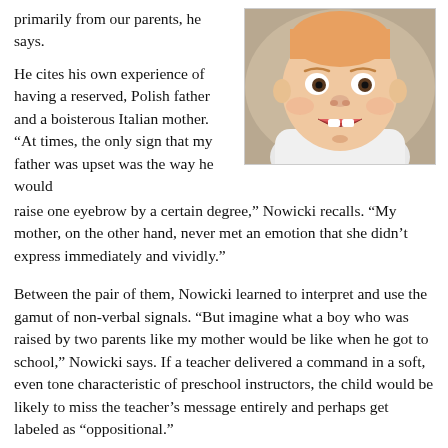primarily from our parents, he says.
[Figure (photo): Close-up photo of a baby with an open mouth showing teeth, wearing a white outfit, with a blurred background.]
He cites his own experience of having a reserved, Polish father and a boisterous Italian mother. “At times, the only sign that my father was upset was the way he would raise one eyebrow by a certain degree,” Nowicki recalls. “My mother, on the other hand, never met an emotion that she didn’t express immediately and vividly.”
Between the pair of them, Nowicki learned to interpret and use the gamut of non-verbal signals. “But imagine what a boy who was raised by two parents like my mother would be like when he got to school,” Nowicki says. If a teacher delivered a command in a soft, even tone characteristic of preschool instructors, the child would be likely to miss the teacher’s message entirely and perhaps get labeled as “oppositional.”